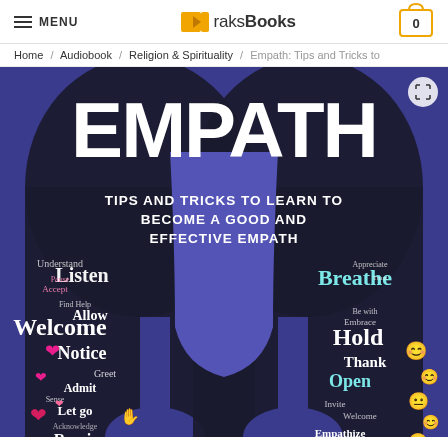MENU | raksBooks | 0
Home / Audiobook / Religion & Spirituality / Empath: Tips and Tricks to
[Figure (photo): Book cover for 'EMPATH: Tips and Tricks to Learn to Become a Good and Effective Empath'. Blue/purple background with large white EMPATH text, subtitle in center, and two silhouetted heads filled with word clouds — left side showing words like Listen, Welcome, Notice, Receive, Invite, Slow down, Trust with hearts and hand emojis; right side showing Breathe, Hold, Thank, Open, Reflect, Attend with smiley face emojis.]